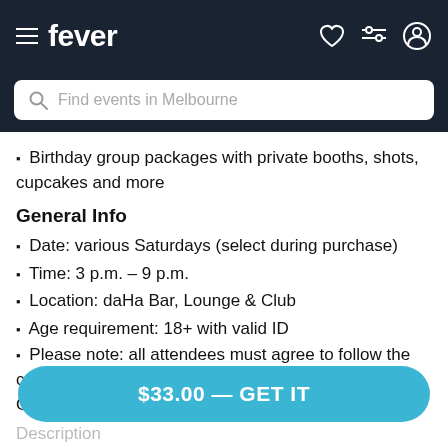fever — Find events in Melbourne
Birthday group packages with private booths, shots, cupcakes and more
General Info
Date: various Saturdays (select during purchase)
Time: 3 p.m. – 9 p.m.
Location: daHa Bar, Lounge & Club
Age requirement: 18+ with valid ID
Please note: all attendees must agree to follow the current COVID regulations set by the Australian Government
$33.00 — GET IT
Description